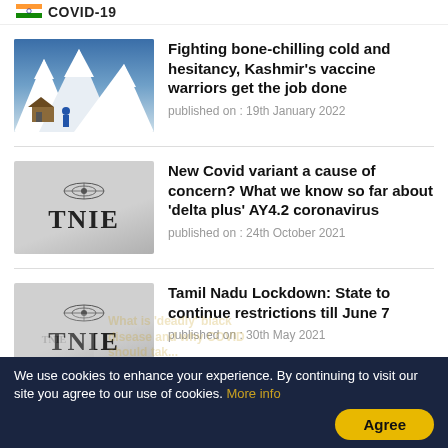COVID-19
Fighting bone-chilling cold and hesitancy, Kashmir's vaccine warriors get the job done | published on : 19th January 2022
New Covid variant a cause of concern? What we know so far about 'delta plus' AY4.2 coronavirus | published on : 24th October 2021
Tamil Nadu Lockdown: State to continue restrictions till June 7 | published on : 30th May 2021
We use cookies to enhance your experience. By continuing to visit our site you agree to our use of cookies. More info